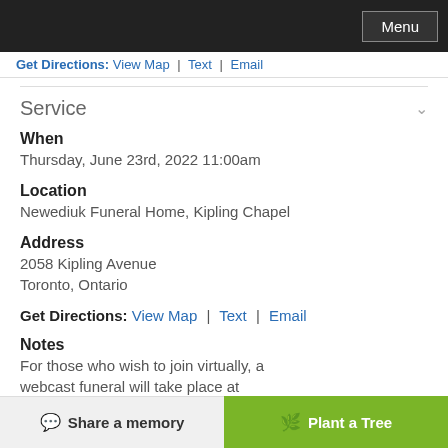Menu
Get Directions: View Map | Text | Email
Service
When
Thursday, June 23rd, 2022 11:00am
Location
Newediuk Funeral Home, Kipling Chapel
Address
2058 Kipling Avenue
Toronto, Ontario
Get Directions: View Map | Text | Email
Notes
For those who wish to join virtually, a webcast funeral will take place at
Share a memory | Plant a Tree